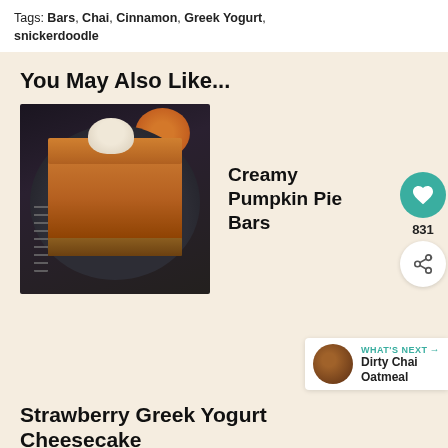Tags: Bars, Chai, Cinnamon, Greek Yogurt, snickerdoodle
You May Also Like...
[Figure (photo): A square slice of creamy pumpkin pie bar with whipped cream on top, served on a dark plate with forks, with a pumpkin blurred in the background]
Creamy Pumpkin Pie Bars
831
WHAT'S NEXT → Dirty Chai Oatmeal
Strawberry Greek Yogurt Cheesecake